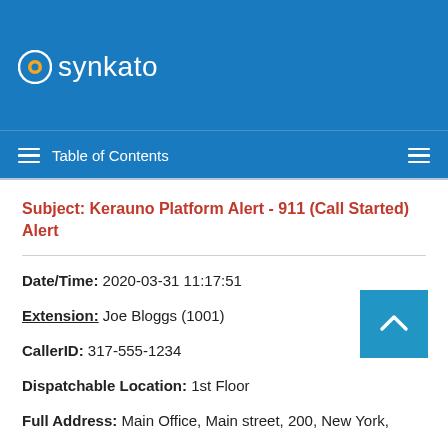[Figure (logo): Synkato logo with blue circular icon and white text 'synkato' on blue header background]
Table of Contents
Subject: Kerauno Platform Alert - 911 (Call Started) Alert
Date/Time: 2020-03-31 11:17:51
Extension: Joe Bloggs (1001)
CallerID: 317-555-1234
Dispatchable Location: 1st Floor
Full Address: Main Office, Main street, 200, New York,